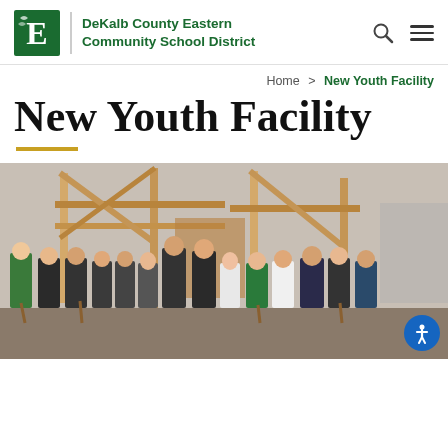DeKalb County Eastern Community School District
Home > New Youth Facility
New Youth Facility
[Figure (photo): Group of approximately 14 people posing at a construction site with wooden framing visible behind them. Several individuals are holding shovels. Some wear green attire. An outdoor setting with overcast sky.]